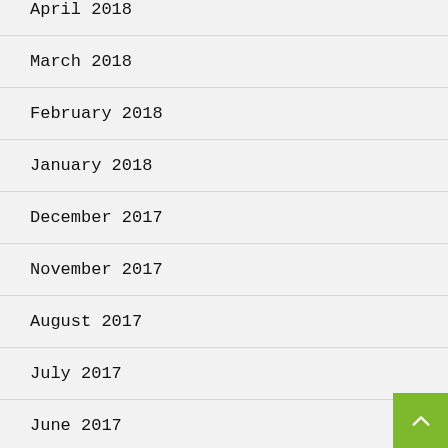April 2018
March 2018
February 2018
January 2018
December 2017
November 2017
August 2017
July 2017
June 2017
May 2017